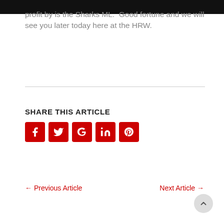profit by is the Sharks ML.  Good fortune and we will see you later today here at the HRW.
SHARE THIS ARTICLE
[Figure (other): Social share buttons: Facebook, Twitter, Google+, LinkedIn, Pinterest — all red rounded square icons]
← Previous Article
Next Article →